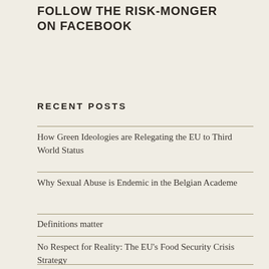FOLLOW THE RISK-MONGER ON FACEBOOK
RECENT POSTS
How Green Ideologies are Relegating the EU to Third World Status
Why Sexual Abuse is Endemic in the Belgian Academe
Definitions matter
No Respect for Reality: The EU's Food Security Crisis Strategy
The Green Death: How the EU's Farm2Famine